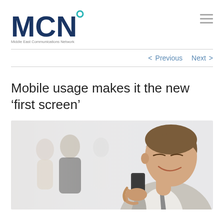MCN – Middle East Communications Network
< Previous   Next >
Mobile usage makes it the new ‘first screen’
[Figure (photo): A young businessman in a light suit looking at his mobile phone, smiling, with blurred colleagues in background in an office setting.]